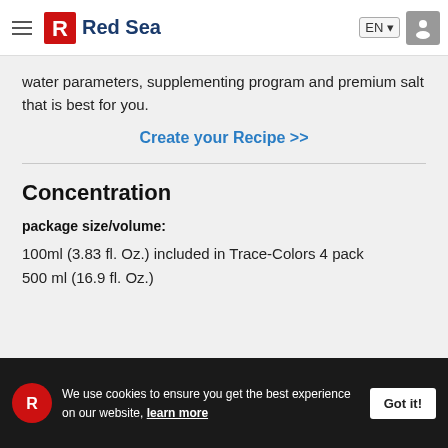Red Sea — EN
water parameters, supplementing program and premium salt that is best for you.
Create your Recipe >>
Concentration
package size/volume:
100ml (3.83 fl. Oz.) included in Trace-Colors 4 pack
500 ml (16.9 fl. Oz.)
We use cookies to ensure you get the best experience on our website, learn more   Got it!